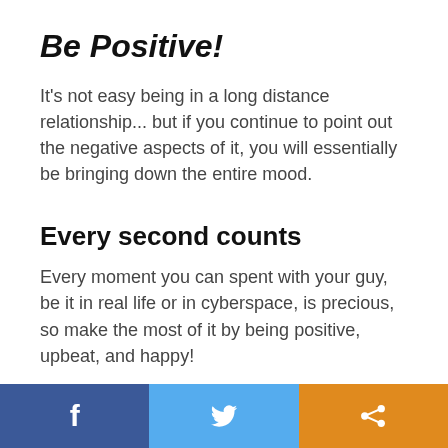Be Positive!
It's not easy being in a long distance relationship... but if you continue to point out the negative aspects of it, you will essentially be bringing down the entire mood.
Every second counts
Every moment you can spent with your guy, be it in real life or in cyberspace, is precious, so make the most of it by being positive, upbeat, and happy!
Facebook | Twitter | Share